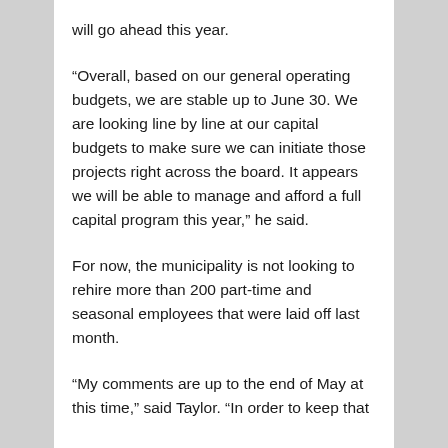will go ahead this year.
“Overall, based on our general operating budgets, we are stable up to June 30. We are looking line by line at our capital budgets to make sure we can initiate those projects right across the board. It appears we will be able to manage and afford a full capital program this year,” he said.
For now, the municipality is not looking to rehire more than 200 part-time and seasonal employees that were laid off last month.
“My comments are up to the end of May at this time,” said Taylor. “In order to keep that